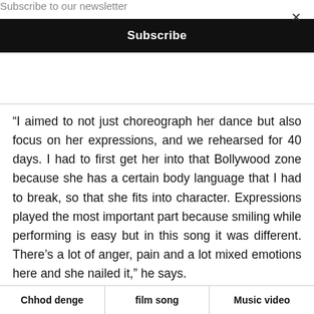Subscribe to our newsletter
Subscribe
“I aimed to not just choreograph her dance but also focus on her expressions, and we rehearsed for 40 days. I had to first get her into that Bollywood zone because she has a certain body language that I had to break, so that she fits into character. Expressions played the most important part because smiling while performing is easy but in this song it was different. There’s a lot of anger, pain and a lot mixed emotions here and she nailed it,” he says.
Chhod denge
film song
Music video